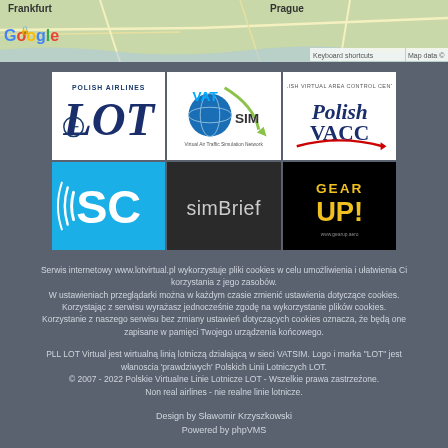[Figure (map): Google Maps screenshot showing Frankfurt and Prague with road/terrain overlay. Google logo visible bottom-left, Keyboard shortcuts and Map data labels bottom-right.]
[Figure (logo): Six partner logos in 2x3 grid: LOT Polish Airlines, VATSIM, Polish VACC (top row); SkySim/SC, simBrief, Gear UP! (bottom row)]
Serwis internetowy www.lotvirtual.pl wykorzystuje pliki cookies w celu umożliwienia i ułatwienia Ci korzystania z jego zasobów.
W ustawieniach przeglądarki można w każdym czasie zmienić ustawienia dotyczące cookies.
Korzystając z serwisu wyrażasz jednocześnie zgodę na wykorzystanie plików cookies.
Korzystanie z naszego serwisu bez zmiany ustawień dotyczących cookies oznacza, że będą one zapisane w pamięci Twojego urządzenia końcowego.
PLL LOT Virtual jest wirtualną linią lotniczą działającą w sieci VATSIM. Logo i marka "LOT" jest włanoscia 'prawdziwych' Polskich Linii Lotniczych LOT.
© 2007 - 2022 Polskie Virtualne Linie Lotnicze LOT - Wszelkie prawa zastrzeżone.
Non real airlines - nie realne linie lotnicze.
Design by Sławomir Krzyszkowski
Powered by phpVMS